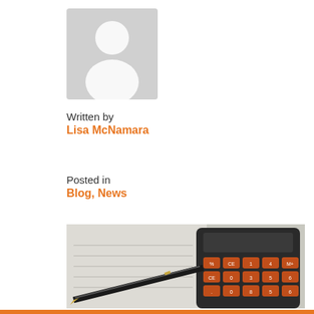[Figure (illustration): Gray placeholder avatar icon showing a person silhouette]
Written by
Lisa McNamara
Posted in
Blog, News
[Figure (photo): Photo of a black pen with gold tip and a red/orange calculator on a white paper background]